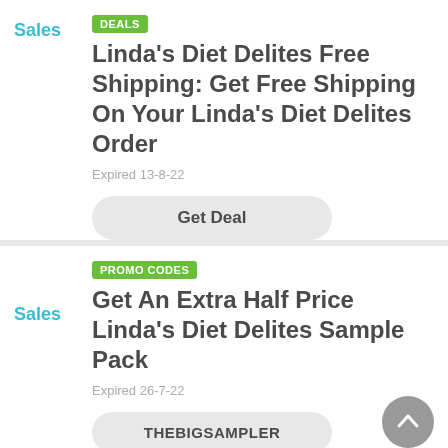DEALS
Linda's Diet Delites Free Shipping: Get Free Shipping On Your Linda's Diet Delites Order
Sales
Expired 13-8-22
Get Deal
PROMO CODES
Get An Extra Half Price Linda's Diet Delites Sample Pack
Sales
Expired 26-7-22
THEBIGSAMPLER